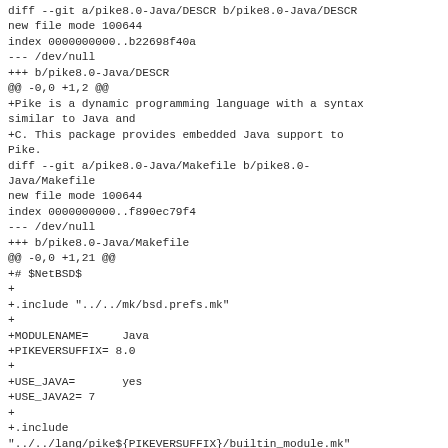diff --git a/pike8.0-Java/DESCR b/pike8.0-Java/DESCR
new file mode 100644
index 0000000000..b22698f40a
--- /dev/null
+++ b/pike8.0-Java/DESCR
@@ -0,0 +1,2 @@
+Pike is a dynamic programming language with a syntax similar to Java and
+C. This package provides embedded Java support to Pike.
diff --git a/pike8.0-Java/Makefile b/pike8.0-Java/Makefile
new file mode 100644
index 0000000000..f890ec79f4
--- /dev/null
+++ b/pike8.0-Java/Makefile
@@ -0,0 +1,21 @@
+# $NetBSD$
+
+.include "../../mk/bsd.prefs.mk"
+
+MODULENAME=     Java
+PIKEVERSUFFIX= 8.0
+
+USE_JAVA=       yes
+USE_JAVA2= 7
+
+.include
"../../lang/pike${PIKEVERSUFFIX}/builtin_module.mk"
+
+PIKE_MODULE_OVERLAPPING_FILES+=